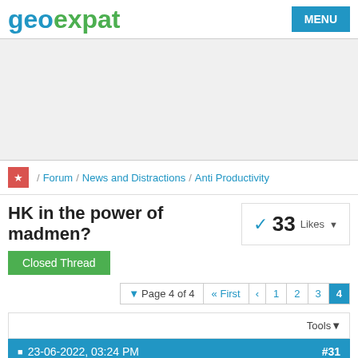geoexpat MENU
[Figure (other): Advertisement area (blank/grey)]
★ / Forum / News and Distractions / Anti Productivity
HK in the power of madmen?
Closed Thread
33 Likes
▼ Page 4 of 4  « First  ‹  1  2  3  4
Tools▼
23-06-2022, 03:24 PM  #31